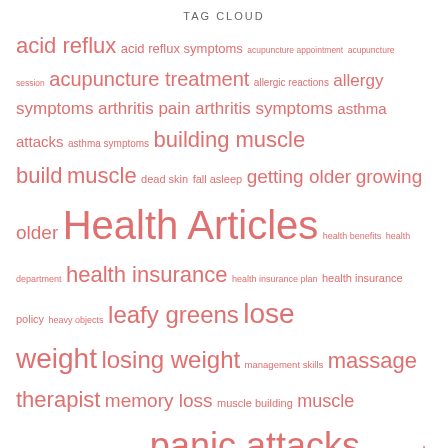TAG CLOUD
[Figure (other): A tag cloud of health-related terms in varying sizes and shades of salmon/red color, indicating relative frequency or importance. Terms include: acid reflux, acid reflux symptoms, acupuncture appointment, acupuncture session, acupuncture treatment, allergic reactions, allergy symptoms, arthritis pain, arthritis symptoms, asthma attacks, asthma symptoms, building muscle, build muscle, dead skin, fall asleep, getting older, growing older, Health Articles, health benefits, health department, health insurance, health insurance plan, health insurance policy, heavy objects, leafy greens, lose weight, losing weight, management skills, massage therapist, memory loss, muscle building, muscle mass, natural remedies, panic attacks, personal development, proper breathing, relieve stress, skin care, stomach acid, strength training, stressful situations, trigger]